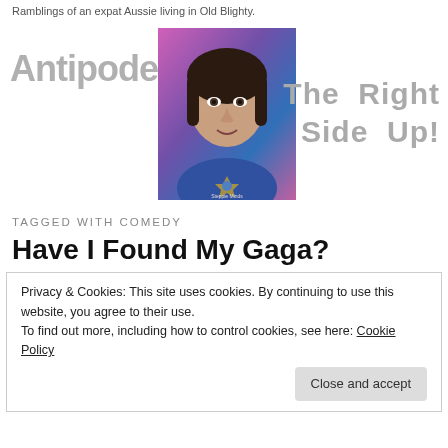Ramblings of an expat Aussie living in Old Blighty.
[Figure (illustration): Blog banner with 'Antipodean' text on the left, a colorful portrait photo in the center, and 'The Right Side Up!' text on the right in grey.]
TAGGED WITH COMEDY
Have I Found My Gaga?
Privacy & Cookies: This site uses cookies. By continuing to use this website, you agree to their use. To find out more, including how to control cookies, see here: Cookie Policy
Close and accept